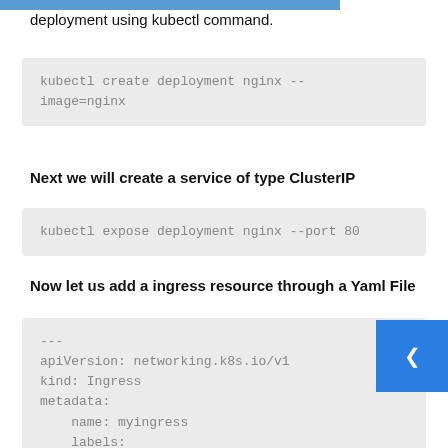deployment using kubectl command.
kubectl create deployment nginx --image=nginx
Next we will create a service of type ClusterIP
kubectl expose deployment nginx --port 80
Now let us add a ingress resource through a Yaml File
---
apiVersion: networking.k8s.io/v1
kind: Ingress
metadata:
    name: myingress
    labels:
        name: myingress
spec:
  rules:
  - host: example.com
    http:
        paths:
        - pathType: Prefix
          path: "/"
          backend:
              service:
                  name: nginx
                  port: